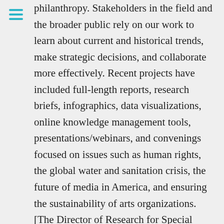philanthropy. Stakeholders in the field and the broader public rely on our work to learn about current and historical trends, make strategic decisions, and collaborate more effectively. Recent projects have included full-length reports, research briefs, infographics, data visualizations, online knowledge management tools, presentations/webinars, and convenings focused on issues such as human rights, the global water and sanitation crisis, the future of media in America, and ensuring the sustainability of arts organizations. [The Director of Research for Special Projects is] responsible for developing and directing